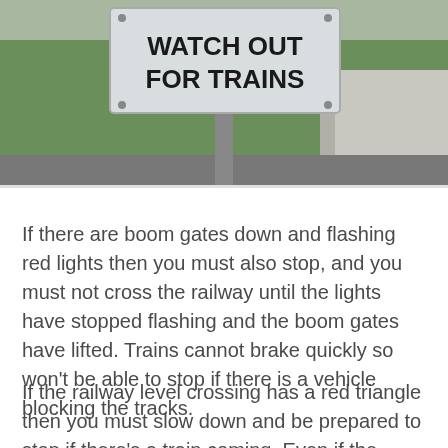[Figure (photo): A photograph of a white sign with bold black text reading 'WATCH OUT FOR TRAINS' mounted on a post, with green grass and a sidewalk/road visible in the background.]
If there are boom gates down and flashing red lights then you must also stop, and you must not cross the railway until the lights have stopped flashing and the boom gates have lifted. Trains cannot brake quickly so won't be able to stop if there is a vehicle blocking the tracks.
If the railway level crossing has a red triangle then you must slow down and be prepared to stop if there's a train coming. Even if the signals are not flashing, it's a good idea to